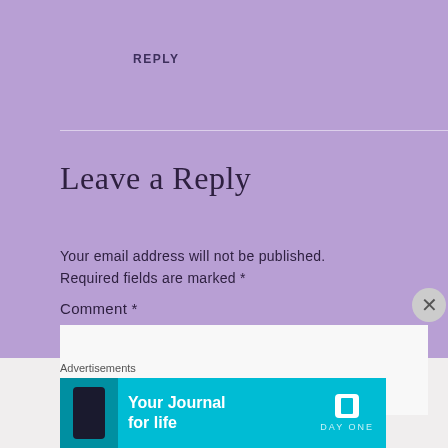REPLY
Leave a Reply
Your email address will not be published. Required fields are marked *
Comment *
[Figure (screenshot): White comment text input box]
Advertisements
[Figure (illustration): Day One - Your Journal for life advertisement banner with teal background, phone image on left, text in center, and Day One logo on right]